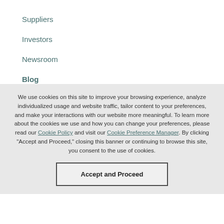Suppliers
Investors
Newsroom
Blog
We use cookies on this site to improve your browsing experience, analyze individualized usage and website traffic, tailor content to your preferences, and make your interactions with our website more meaningful. To learn more about the cookies we use and how you can change your preferences, please read our Cookie Policy and visit our Cookie Preference Manager. By clicking "Accept and Proceed," closing this banner or continuing to browse this site, you consent to the use of cookies.
Accept and Proceed